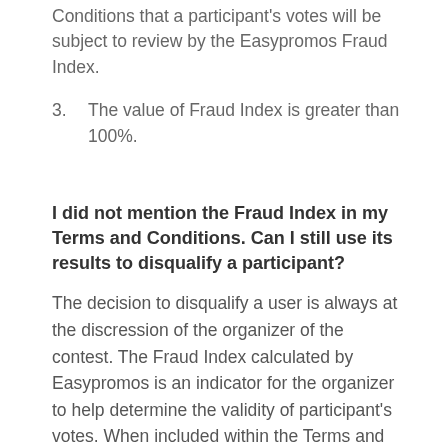Conditions that a participant's votes will be subject to review by the Easypromos Fraud Index.
3. The value of Fraud Index is greater than 100%.
I did not mention the Fraud Index in my Terms and Conditions. Can I still use its results to disqualify a participant?
The decision to disqualify a user is always at the discression of the organizer of the contest. The Fraud Index calculated by Easypromos is an indicator for the organizer to help determine the validity of participant's votes. When included within the Terms and Conditions, the participant will have